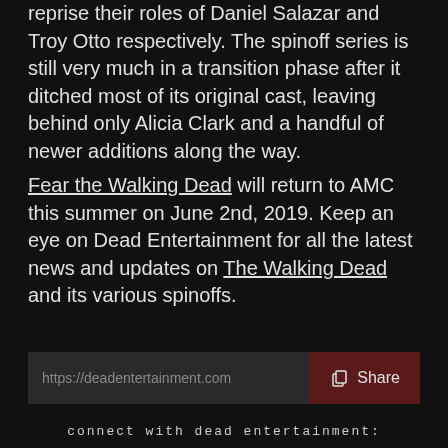reprise their roles of Daniel Salazar and Troy Otto respectively. The spinoff series is still very much in a transition phase after it ditched most of its original cast, leaving behind only Alicia Clark and a handful of newer additions along the way.
Fear the Walking Dead will return to AMC this summer on June 2nd, 2019. Keep an eye on Dead Entertainment for all the latest news and updates on The Walking Dead and its various spinoffs.
https://deadentertainment.com  Share
connect with dead entertainment:
Facebook  Twitter  Instagram  YouTube  Twitch